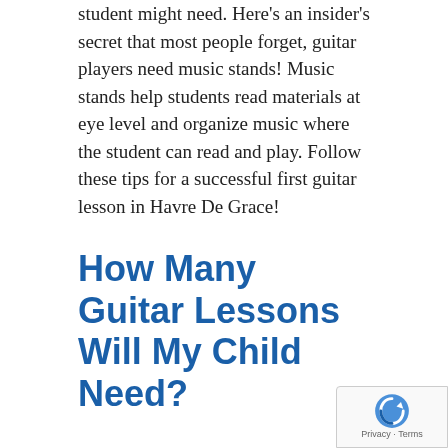student might need. Here's an insider's secret that most people forget, guitar players need music stands! Music stands help students read materials at eye level and organize music where the student can read and play. Follow these tips for a successful first guitar lesson in Havre De Grace!
How Many Guitar Lessons Will My Child Need?
A child who begins guitar lessons should expect to learn a lot right away. In fact, with a little practice they will be playing a song or two with in 2 lessons! There are not many instruments with that fast pay-off for learning – that is why so many people want to learn how to play guitar. You can go to your local music store and get a beginner's guitar for less than a $100 that